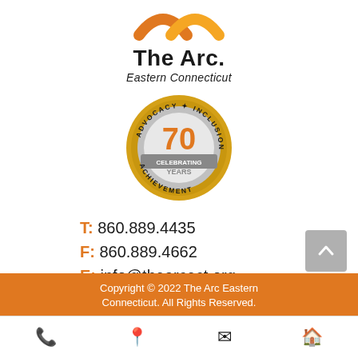[Figure (logo): The Arc Eastern Connecticut logo with orange arc graphic above text]
[Figure (illustration): 70th anniversary badge: gold/silver circular badge with text ADVOCACY, INCLUSION, ACHIEVEMENT, CELEBRATING 70 YEARS in orange and gray]
T: 860.889.4435
F: 860.889.4662
E: info@thearcect.org
[Figure (illustration): Teal awareness ribbon with advocacy pin]
Copyright © 2022 The Arc Eastern Connecticut. All Rights Reserved.